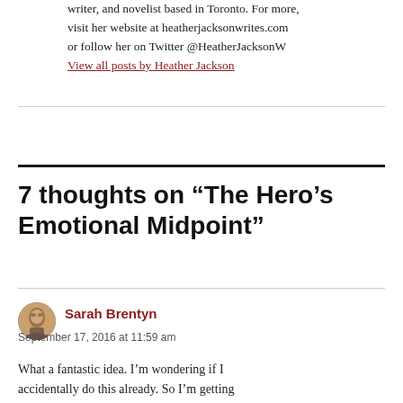writer, and novelist based in Toronto. For more, visit her website at heatherjacksonwrites.com or follow her on Twitter @HeatherJacksonW View all posts by Heather Jackson
7 thoughts on “The Hero’s Emotional Midpoint”
Sarah Brentyn
September 17, 2016 at 11:59 am
What a fantastic idea. I’m wondering if I accidentally do this already. So I’m getting